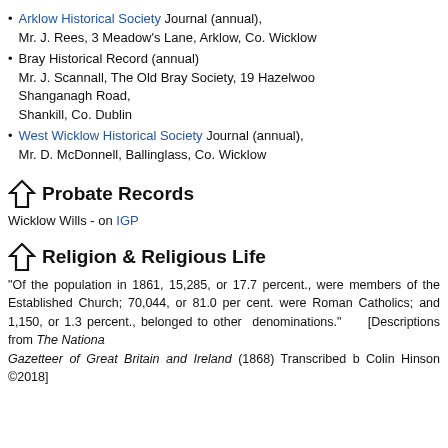Arklow Historical Society Journal (annual), Mr. J. Rees, 3 Meadow's Lane, Arklow, Co. Wicklow
Bray Historical Record (annual) Mr. J. Scannall, The Old Bray Society, 19 Hazelwood, Shanganagh Road, Shankill, Co. Dublin
West Wicklow Historical Society Journal (annual), Mr. D. McDonnell, Ballinglass, Co. Wicklow
Probate Records
Wicklow Wills - on IGP
Religion & Religious Life
"Of the population in 1861, 15,285, or 17.7 percent., were members of the Established Church; 70,044, or 81.0 per cent. were Roman Catholics; and 1,150, or 1.3 percent., belonged to other denominations." [Descriptions from The National Gazetteer of Great Britain and Ireland (1868) Transcribed by Colin Hinson ©2018]